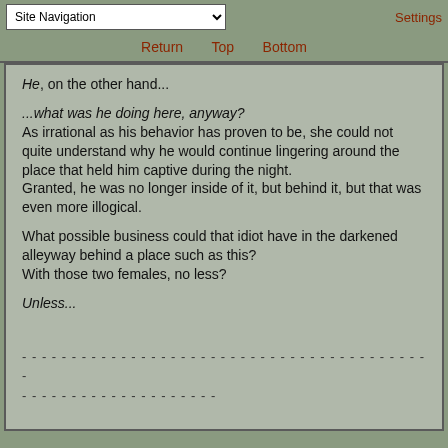Site Navigation | Settings
Return   Top   Bottom
He, on the other hand...

...what was he doing here, anyway?
As irrational as his behavior has proven to be, she could not quite understand why he would continue lingering around the place that held him captive during the night.
Granted, he was no longer inside of it, but behind it, but that was even more illogical.

What possible business could that idiot have in the darkened alleyway behind a place such as this?
With those two females, no less?

Unless...

- - - - - - - - - - - - - - - - - - - - - - - - - - - - - - - - - - - - - - -
- - - - - - - - - - - - - - - - - - -